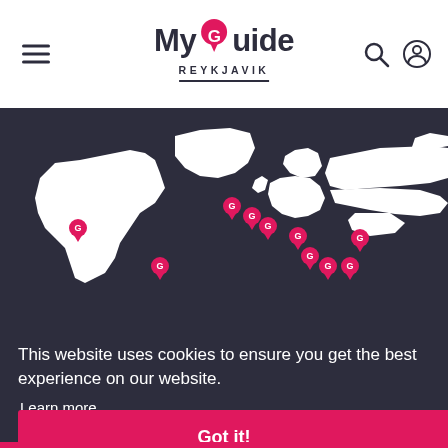MyGuide REYKJAVIK — navigation header with hamburger menu, logo, search and user icons
[Figure (map): Dark background world map (northern hemisphere focused) with white continent silhouettes and multiple pink location pin markers (MyGuide G-logo pins) scattered across North America, Europe, and Asia]
This website uses cookies to ensure you get the best experience on our website.
Learn more
Got it!